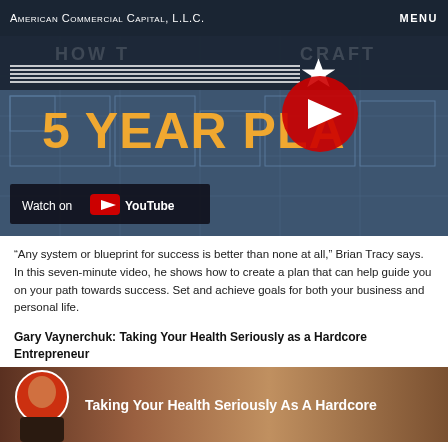American Commercial Capital, L.L.C.   MENU
[Figure (screenshot): YouTube video thumbnail showing '5 YEAR PLA[N]' text over a blueprint background with 'HOW TO CRAFT' faintly visible, a YouTube play button overlay, and a 'Watch on YouTube' bar at the bottom]
“Any system or blueprint for success is better than none at all,” Brian Tracy says. In this seven-minute video, he shows how to create a plan that can help guide you on your path towards success. Set and achieve goals for both your business and personal life.
Gary Vaynerchuk: Taking Your Health Seriously as a Hardcore Entrepreneur
[Figure (screenshot): YouTube video thumbnail showing 'Taking Your Health Seriously As A Hardcore' text with a person on the left side]